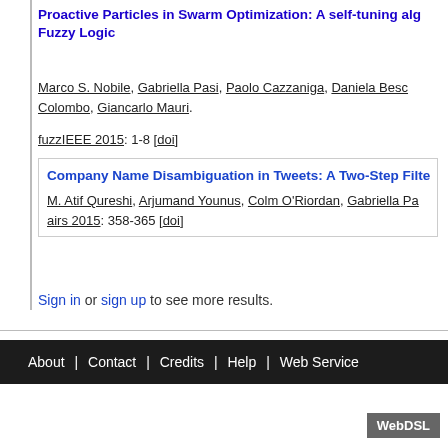Proactive Particles in Swarm Optimization: A self-tuning alg... Fuzzy Logic
Marco S. Nobile, Gabriella Pasi, Paolo Cazzaniga, Daniela Besc... Colombo, Giancarlo Mauri.
fuzzIEEE 2015: 1-8 [doi]
Company Name Disambiguation in Tweets: A Two-Step Filte...
M. Atif Qureshi, Arjumand Younus, Colm O'Riordan, Gabriella Pa...
airs 2015: 358-365 [doi]
Sign in or sign up to see more results.
About | Contact | Credits | Help | Web Service